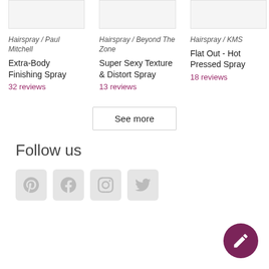[Figure (photo): Product image for Extra-Body Finishing Spray]
Hairspray / Paul Mitchell
Extra-Body Finishing Spray
32 reviews
[Figure (photo): Product image for Super Sexy Texture & Distort Spray]
Hairspray / Beyond The Zone
Super Sexy Texture & Distort Spray
13 reviews
[Figure (photo): Product image for Flat Out - Hot Pressed Spray]
Hairspray / KMS
Flat Out - Hot Pressed Spray
18 reviews
See more
Follow us
[Figure (other): Social media icons: Pinterest, Facebook, Instagram, Twitter]